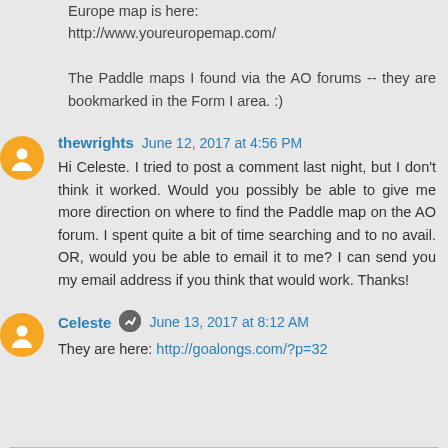Europe map is here:
http://www.youreuropemap.com/

The Paddle maps I found via the AO forums -- they are bookmarked in the Form I area. :)
thewrights June 12, 2017 at 4:56 PM
Hi Celeste. I tried to post a comment last night, but I don't think it worked. Would you possibly be able to give me more direction on where to find the Paddle map on the AO forum. I spent quite a bit of time searching and to no avail. OR, would you be able to email it to me? I can send you my email address if you think that would work. Thanks!
Celeste June 13, 2017 at 8:12 AM
They are here: http://goalongs.com/?p=32